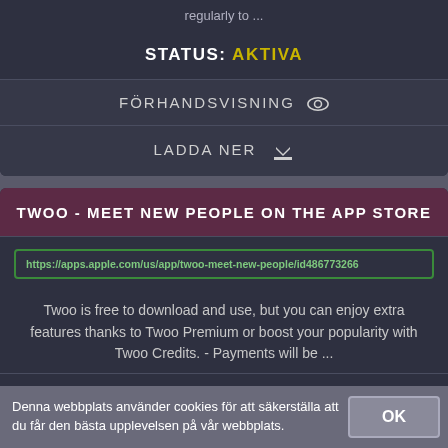regularly to ...
STATUS: AKTIVA
FÖRHANDSVISNING
LADDA NER
TWOO - MEET NEW PEOPLE ON THE APP STORE
https://apps.apple.com/us/app/twoo-meet-new-people/id486773266
Twoo is free to download and use, but you can enjoy extra features thanks to Twoo Premium or boost your popularity with Twoo Credits. - Payments will be ...
STATUS: AKTIVA
Denna webbplats använder cookies för att säkerställa att du får den bästa upplevelsen på vår webbplats.